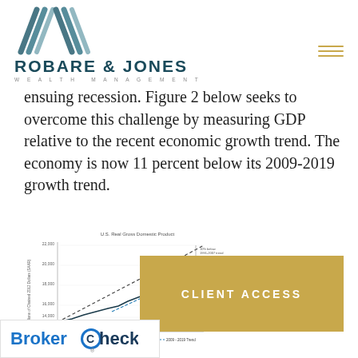[Figure (logo): Robare & Jones Wealth Management logo with geometric chevron icon in teal/dark blue, company name in large caps, and subtitle WEALTH MANAGEMENT in spaced small caps]
ensuing recession. Figure 2 below seeks to overcome this challenge by measuring GDP relative to the recent economic growth trend. The economy is now 11 percent below its 2009-2019 growth trend.
[Figure (line-chart): Line chart showing Real GDP, 1991-2007 Trend, and 2009-2019 Trend lines, with y-axis showing Billions of Chained 2012 Dollars (SAAR) from about 12,000 to 22,000. Annotations show 10% below 1991-2007 trend and 11% below label.]
[Figure (logo): BrokerCheck FINRA logo in blue and dark blue at bottom left]